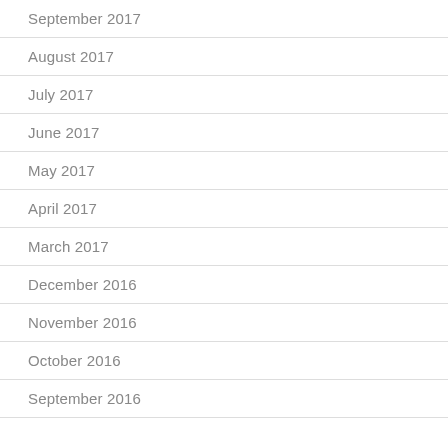September 2017
August 2017
July 2017
June 2017
May 2017
April 2017
March 2017
December 2016
November 2016
October 2016
September 2016